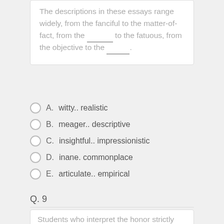The descriptions in these essays range widely, from the fanciful to the matter-of-fact, from the ___ to the fatuous, from the objective to the ___.
A. witty.. realistic
B. meager.. descriptive
C. insightful.. impressionistic
D. inane. commonplace
E. articulate.. empirical
Q. 9
Students who interpret the honor strictly